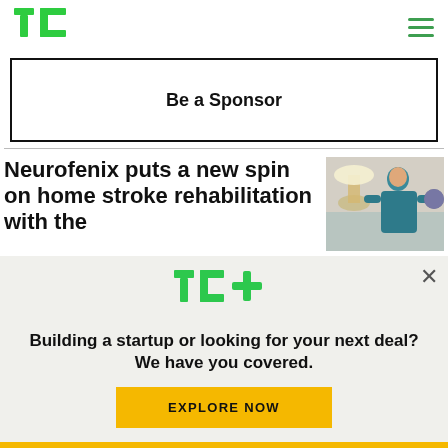TechCrunch
Be a Sponsor
Neurofenix puts a new spin on home stroke rehabilitation with the
[Figure (photo): Person doing stroke rehabilitation with a device at home]
[Figure (logo): TC+ logo in green]
Building a startup or looking for your next deal? We have you covered.
EXPLORE NOW